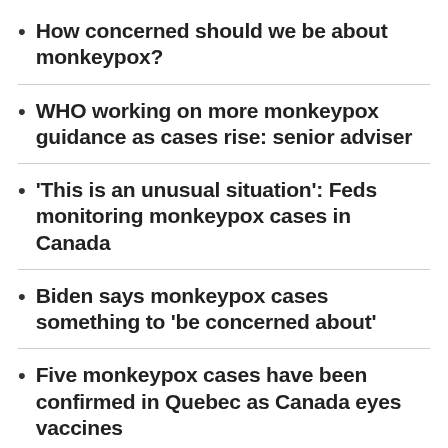How concerned should we be about monkeypox?
WHO working on more monkeypox guidance as cases rise: senior adviser
'This is an unusual situation': Feds monitoring monkeypox cases in Canada
Biden says monkeypox cases something to 'be concerned about'
Five monkeypox cases have been confirmed in Quebec as Canada eyes vaccines
Toronto investigating first suspected case of monkeypox
Canada considering smallpox vaccine for